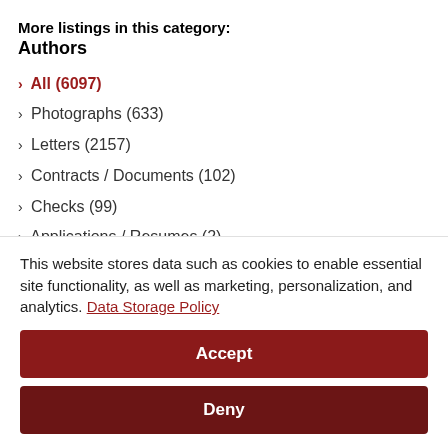More listings in this category:
Authors
All (6097)
Photographs (633)
Letters (2157)
Contracts / Documents (102)
Checks (99)
Applications / Resumes (2)
Quotations (162)
Signatures (745)
Notes (498)
Ephemera (14)
This website stores data such as cookies to enable essential site functionality, as well as marketing, personalization, and analytics. Data Storage Policy
Accept
Deny